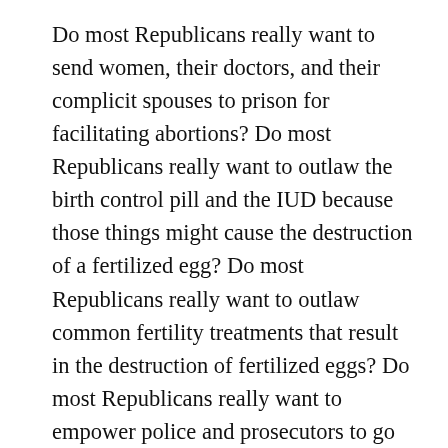Do most Republicans really want to send women, their doctors, and their complicit spouses to prison for facilitating abortions? Do most Republicans really want to outlaw the birth control pill and the IUD because those things might cause the destruction of a fertilized egg? Do most Republicans really want to outlaw common fertility treatments that result in the destruction of fertilized eggs? Do most Republicans really want to empower police and prosecutors to go after women who miscarry under suspicious circumstances? Do most Republicans really want to put decisions about a woman’s health in the hands of politicians, bureaucrats, and prosecutors?